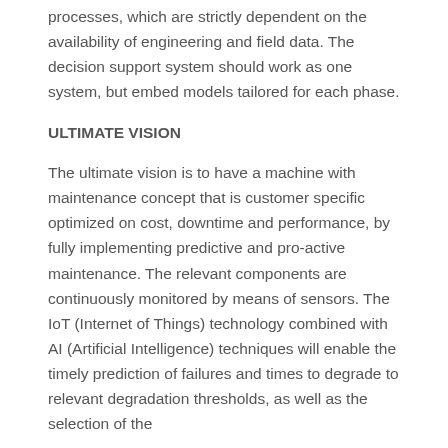processes, which are strictly dependent on the availability of engineering and field data. The decision support system should work as one system, but embed models tailored for each phase.
ULTIMATE VISION
The ultimate vision is to have a machine with maintenance concept that is customer specific optimized on cost, downtime and performance, by fully implementing predictive and pro-active maintenance. The relevant components are continuously monitored by means of sensors. The IoT (Internet of Things) technology combined with AI (Artificial Intelligence) techniques will enable the timely prediction of failures and times to degrade to relevant degradation thresholds, as well as the selection of the